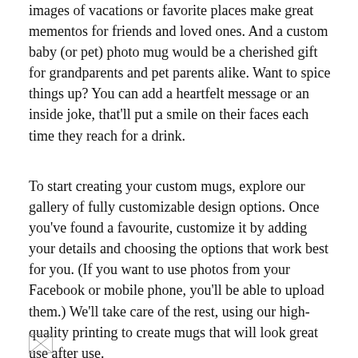images of vacations or favorite places make great mementos for friends and loved ones. And a custom baby (or pet) photo mug would be a cherished gift for grandparents and pet parents alike. Want to spice things up? You can add a heartfelt message or an inside joke, that'll put a smile on their faces each time they reach for a drink.
To start creating your custom mugs, explore our gallery of fully customizable design options. Once you've found a favourite, customize it by adding your details and choosing the options that work best for you. (If you want to use photos from your Facebook or mobile phone, you'll be able to upload them.) We'll take care of the rest, using our high-quality printing to create mugs that will look great use after use.
[Figure (other): A small broken/missing image placeholder icon]